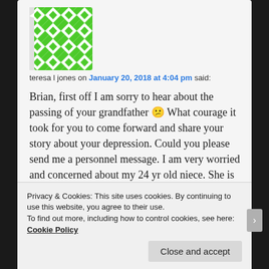[Figure (illustration): Green and white geometric/quilt pattern avatar image]
teresa l jones on January 20, 2018 at 4:04 pm said:
Brian, first off I am sorry to hear about the passing of your grandfather 😕 What courage it took for you to come forward and share your story about your depression. Could you please send me a personnel message. I am very worried and concerned about my 24 yr old niece. She is severely depressed and has some other issues going on and really needs help. I am interested to learn more about this TM, but wanted to share
Privacy & Cookies: This site uses cookies. By continuing to use this website, you agree to their use.
To find out more, including how to control cookies, see here: Cookie Policy
Close and accept